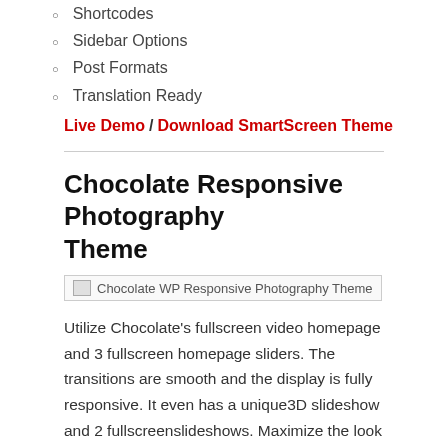Shortcodes
Sidebar Options
Post Formats
Translation Ready
Live Demo / Download SmartScreen Theme
Chocolate Responsive Photography Theme
[Figure (photo): Chocolate WP Responsive Photography Theme - broken image placeholder]
Utilize Chocolate's fullscreen video homepage and 3 fullscreen homepage sliders. The transitions are smooth and the display is fully responsive. It even has a unique3D slideshow and 2 fullscreenslideshows. Maximize the look of your photographs with its powerful galleries or masonry layout. Sharpen your blog with its Woo Tumblog-powered post formats. It will even take your website further with its rich customization options.